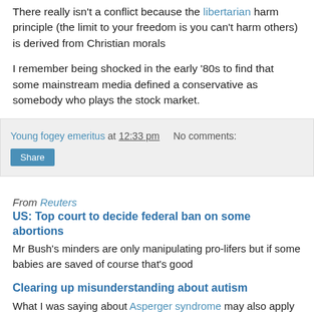There really isn't a conflict because the libertarian harm principle (the limit to your freedom is you can't harm others) is derived from Christian morals
I remember being shocked in the early '80s to find that some mainstream media defined a conservative as somebody who plays the stock market.
Young fogey emeritus at 12:33 pm    No comments:
Share
From Reuters
US: Top court to decide federal ban on some abortions
Mr Bush's minders are only manipulating pro-lifers but if some babies are saved of course that's good
Clearing up misunderstanding about autism
What I was saying about Asperger syndrome may also apply